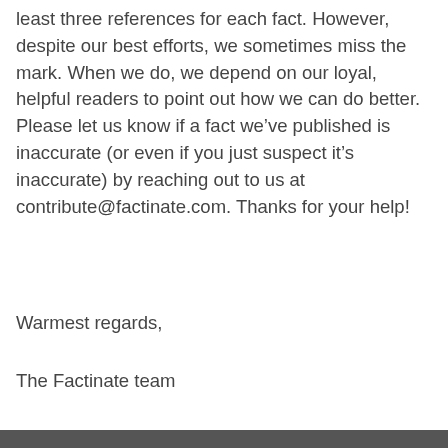least three references for each fact. However, despite our best efforts, we sometimes miss the mark. When we do, we depend on our loyal, helpful readers to point out how we can do better. Please let us know if a fact we've published is inaccurate (or even if you just suspect it's inaccurate) by reaching out to us at contribute@factinate.com. Thanks for your help!
Warmest regards,
The Factinate team